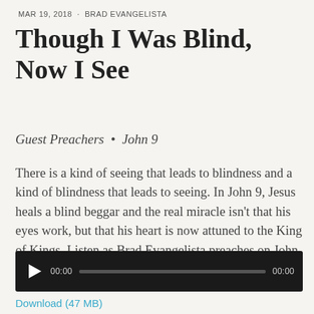MAR 19, 2018  ·  BRAD EVANGELISTA
Though I Was Blind, Now I See
Guest Preachers  •  John 9
There is a kind of seeing that leads to blindness and a kind of blindness that leads to seeing. In John 9, Jesus heals a blind beggar and the real miracle isn't that his eyes work, but that his heart is now attuned to the King of Kings. Listen as Brad Evangelista preaches on John 9.
[Figure (other): Audio player widget with play button, time display 00:00, progress bar, and end time 00:00 on a dark background]
Download (47 MB)